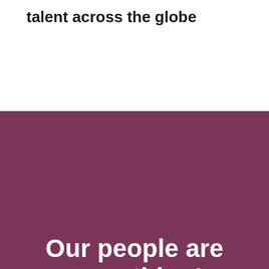talent across the globe
Our people are everything!
As a small business we're agile and adaptable to meet the expectations of our clients, and our candidates.
Our ethics, honesty, transparency and hands-